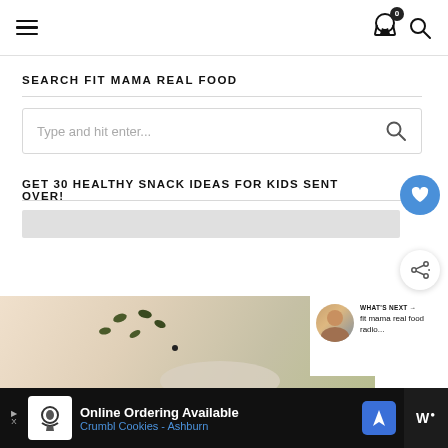Navigation header with hamburger menu, cart icon (badge: 0), and search icon
SEARCH FIT MAMA REAL FOOD
Type and hit enter...
GET 30 HEALTHY SNACK IDEAS FOR KIDS SENT OVER!
[Figure (photo): Photo of food items (seeds/nuts) on a white surface, partially visible]
WHAT'S NEXT → fit mama real food radio...
[Figure (infographic): Advertisement banner: Online Ordering Available - Crumbl Cookies - Ashburn, with chef logo, navigation icon, and W icon]